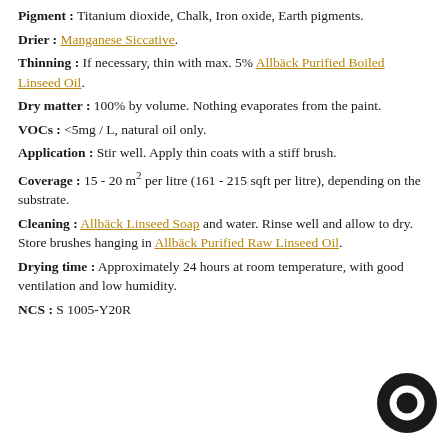Pigment : Titanium dioxide, Chalk, Iron oxide, Earth pigments.
Drier : Manganese Siccative.
Thinning : If necessary, thin with max. 5% Allbäck Purified Boiled Linseed Oil.
Dry matter : 100% by volume. Nothing evaporates from the paint.
VOCs : <5mg / L, natural oil only.
Application : Stir well. Apply thin coats with a stiff brush.
Coverage : 15 - 20 m² per litre (161 - 215 sqft per litre), depending on the substrate.
Cleaning : Allbäck Linseed Soap and water. Rinse well and allow to dry. Store brushes hanging in Allbäck Purified Raw Linseed Oil.
Drying time : Approximately 24 hours at room temperature, with good ventilation and low humidity.
NCS : S 1005-Y20R
[Figure (logo): Black circular logo/icon in bottom right corner]